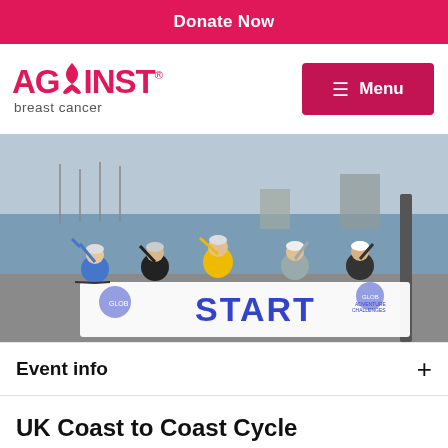Donate Now
[Figure (logo): Against Breast Cancer logo with pink ribbon replacing the 'A' in AGAINST]
[Figure (photo): Five cyclists in helmets standing with bikes holding a 'START' banner for a Global Adventure Challenges event, near a harbour]
Event info
UK Coast to Coast Cycle